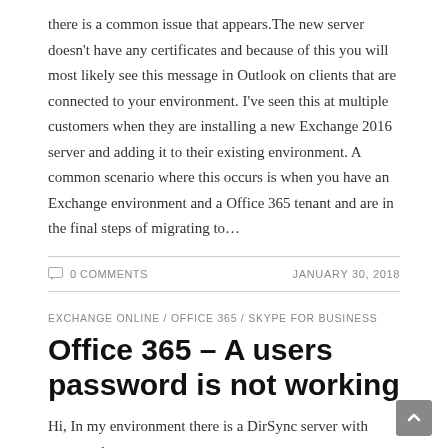there is a common issue that appears.The new server doesn't have any certificates and because of this you will most likely see this message in Outlook on clients that are connected to your environment. I've seen this at multiple customers when they are installing a new Exchange 2016 server and adding it to their existing environment. A common scenario where this occurs is when you have an Exchange environment and a Office 365 tenant and are in the final steps of migrating to…
0 COMMENTS
JANUARY 30, 2018
EXCHANGE ONLINE / OFFICE 365 / SKYPE FOR BUSINESS
Office 365 – A users password is not working
Hi, In my environment there is a DirSync server with password